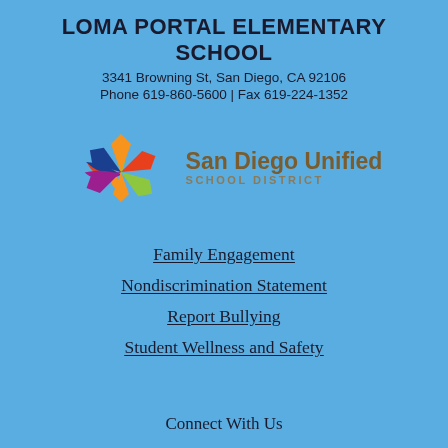LOMA PORTAL ELEMENTARY SCHOOL
3341 Browning St, San Diego, CA 92106
Phone 619-860-5600 | Fax 619-224-1352
[Figure (logo): San Diego Unified School District logo with colorful pinwheel/flower graphic and text 'San Diego Unified SCHOOL DISTRICT']
Family Engagement
Nondiscrimination Statement
Report Bullying
Student Wellness and Safety
Connect With Us